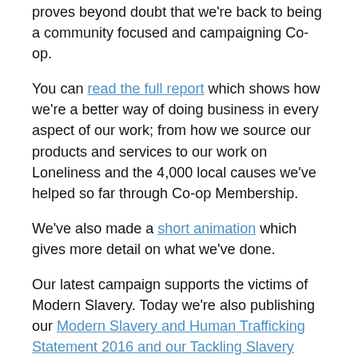proves beyond doubt that we're back to being a community focused and campaigning Co-op.
You can read the full report which shows how we're a better way of doing business in every aspect of our work; from how we source our products and services to our work on Loneliness and the 4,000 local causes we've helped so far through Co-op Membership.
We've also made a short animation which gives more detail on what we've done.
Our latest campaign supports the victims of Modern Slavery. Today we're also publishing our Modern Slavery and Human Trafficking Statement 2016 and our Tackling Slavery report, which shows how we're helping people rescued from slavery here in the UK to rebuild their lives.
These reports show just how far we've come in the last couple of years. Once again we're taking the lead on